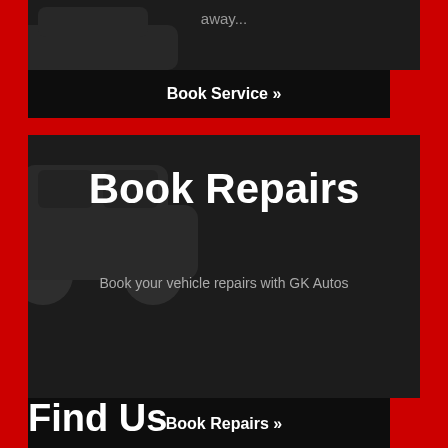away...
Book Service »
Book Repairs
Book your vehicle repairs with GK Autos
Book Repairs »
Enquiry
Get in contact with GK Autos, we are happy to help...
Get in Touch »
Find Us